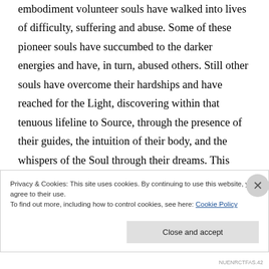embodiment volunteer souls have walked into lives of difficulty, suffering and abuse. Some of these pioneer souls have succumbed to the darker energies and have, in turn, abused others. Still other souls have overcome their hardships and have reached for the Light, discovering within that tenuous lifeline to Source, through the presence of their guides, the intuition of their body, and the whispers of the Soul through their dreams. This path of self-discovery
Privacy & Cookies: This site uses cookies. By continuing to use this website, you agree to their use.
To find out more, including how to control cookies, see here: Cookie Policy
Close and accept
NUENRCTFAS.42